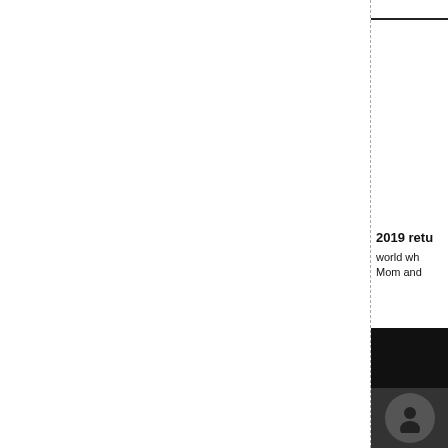2019 retu world wh Mom and
[Figure (photo): Two-panel photo at bottom right: top panel shows a dark black-toned image, bottom panel shows a dark blue-toned image with a circular element]